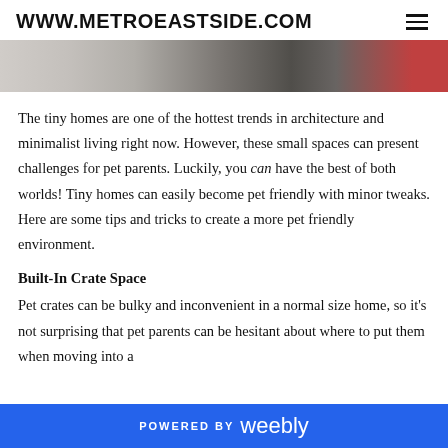WWW.METROEASTSIDE.COM
[Figure (photo): Partial top of a photo showing a room interior with objects, partially cropped at the top of the page.]
The tiny homes are one of the hottest trends in architecture and minimalist living right now. However, these small spaces can present challenges for pet parents. Luckily, you can have the best of both worlds! Tiny homes can easily become pet friendly with minor tweaks. Here are some tips and tricks to create a more pet friendly environment.
Built-In Crate Space
Pet crates can be bulky and inconvenient in a normal size home, so it's not surprising that pet parents can be hesitant about where to put them when moving into a
POWERED BY weebly